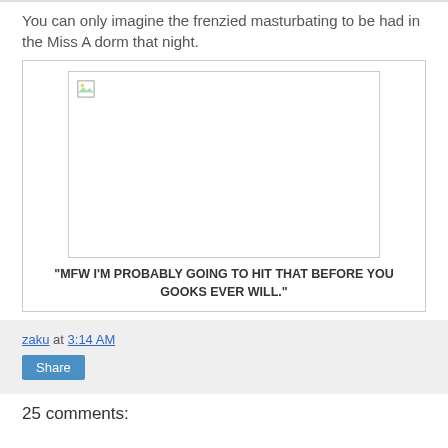You can only imagine the frenzied masturbating to be had in the Miss A dorm that night.
[Figure (photo): Broken image placeholder with a caption below it]
"MFW I'M PROBABLY GOING TO HIT THAT BEFORE YOU GOOKS EVER WILL."
zaku at 3:14 AM
Share
25 comments: